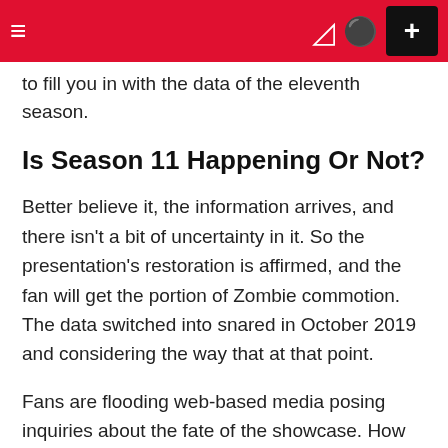≡  ) ⊙  +
to fill you in with the data of the eleventh season.
Is Season 11 Happening Or Not?
Better believe it, the information arrives, and there isn't a bit of uncertainty in it. So the presentation's restoration is affirmed, and the fan will get the portion of Zombie commotion. The data switched into snared in October 2019 and considering the way that at that point.
Fans are flooding web-based media posing inquiries about the fate of the showcase. How are matters going to show round in the fifth season? What's the cast for the eleventh season? Furthermore, plenty of